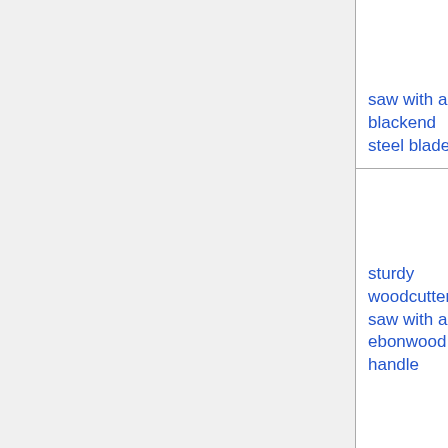| Item | Value |  |
| --- | --- | --- |
| saw with a blackend steel blade | 2,888 |  |
| sturdy woodcutter's saw with an ebonwood handle | 2,886 |  |
| sturdy carpenter's saw with a burlwood handle | 2,886 |  |
| serrated carpenter's saw etched with stylized archers | 2,886 |  |
| ornate ... |  |  |